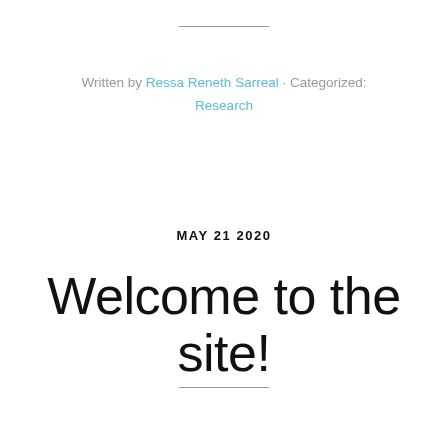Written by Ressa Reneth Sarreal · Categorized: Research
MAY 21 2020
Welcome to the site!